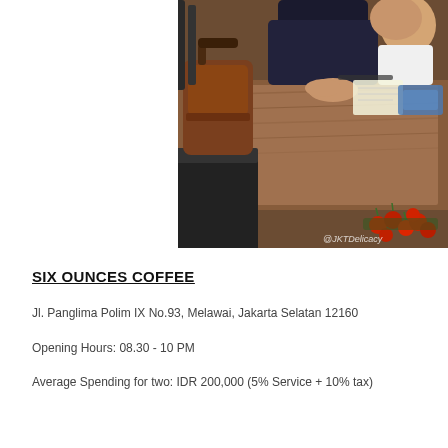[Figure (photo): Interior of a cafe showing a young child and adult sitting at a wooden table with chairs around them. Red berries/coffee cherries visible in foreground. Watermark '@JKTDelicacy' in lower right.]
SIX OUNCES COFFEE
Jl. Panglima Polim IX No.93, Melawai, Jakarta Selatan 12160
Opening Hours: 08.30 - 10 PM
Average Spending for two: IDR 200,000 (5% Service + 10% tax)